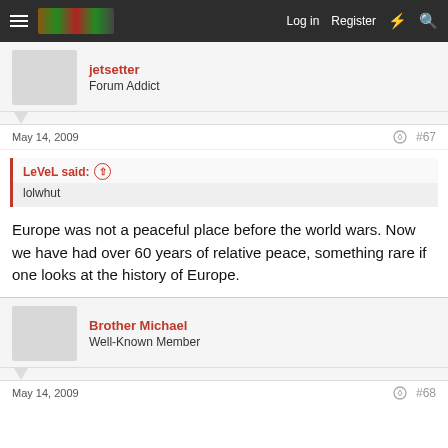Log in  Register
jetsetter
Forum Addict
May 14, 2009  #67
LeVeL said:
lolwhut
Europe was not a peaceful place before the world wars. Now we have had over 60 years of relative peace, something rare if one looks at the history of Europe.
Brother Michael
Well-Known Member
May 14, 2009  #68